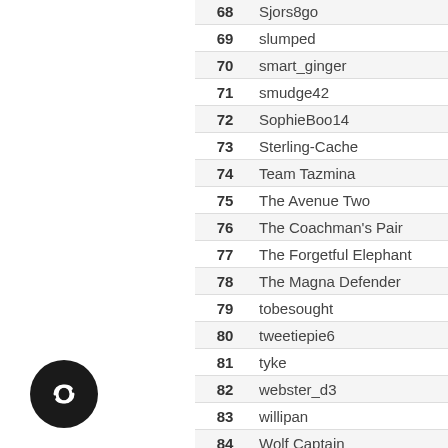| Rank | Name |
| --- | --- |
| 68 | Sjors8go |
| 69 | slumped |
| 70 | smart_ginger |
| 71 | smudge42 |
| 72 | SophieBoo14 |
| 73 | Sterling-Cache |
| 74 | Team Tazmina |
| 75 | The Avenue Two |
| 76 | The Coachman's Pair |
| 77 | The Forgetful Elephant |
| 78 | The Magna Defender |
| 79 | tobesought |
| 80 | tweetiepie6 |
| 81 | tyke |
| 82 | webster_d3 |
| 83 | willipan |
| 84 | Wolf Captain |
| 85 | wriglee |
| 86 | Yateley Zookeepers |
| 87 | 'Pere-grino' |
[Figure (logo): Circular black logo with white infinity/chain-link icon]